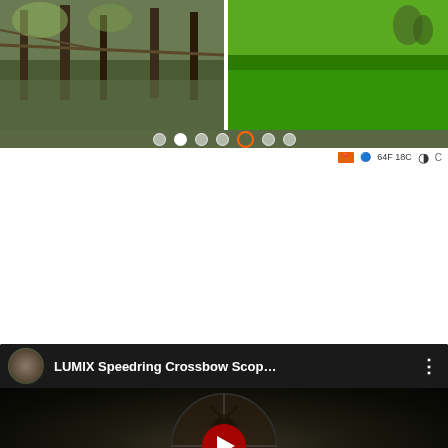[Figure (screenshot): Two outdoor/nature photos side by side with carousel dot navigation and a status bar below. Left photo shows trees/forest scene; right photo shows green grass field. Navigation dots appear below with one highlighted in orange.]
[Figure (screenshot): YouTube video embed showing 'LUMIX Speedring Crossbow Scop...' with a circular scope/crosshair image in dark background, red play button in center, RED/BLUE ILLUMINATED badge in lower left, video controls showing 00:00 timestamp and 03:42 duration.]
[Figure (screenshot): YouTube video embed showing 'CVA Scout V2 .44 MAG - Review & ...' with an outdoor/forest scene, a person visible, red banner at bottom showing 'SCOUT V2' and 'REVIEW AND'.]